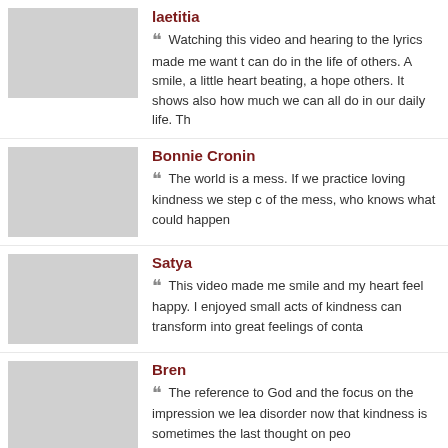laetitia
Watching this video and hearing to the lyrics made me want to... can do in the life of others. A smile, a little heart beating, a hope... others. It shows also how much we can all do in our daily life. Th...
Bonnie Cronin
The world is a mess. If we practice loving kindness we step c... of the mess, who knows what could happen
Satya
This video made me smile and my heart feel happy. I enjoyed... small acts of kindness can transform into great feelings of conta...
Bren
The reference to God and the focus on the impression we lea... disorder now that kindness is sometimes the last thought on peo...
sanjay
Great lyrics and saving the horse and dog
Ranganath .M
Very nice continue and spread the message